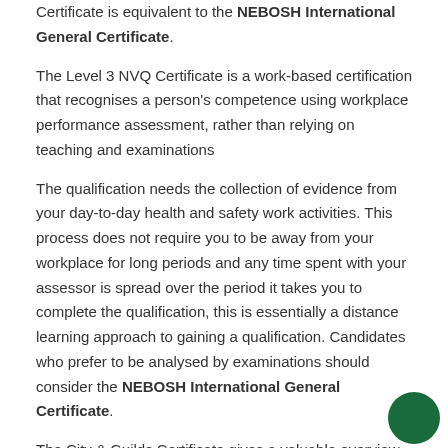Certificate is equivalent to the NEBOSH International General Certificate.
The Level 3 NVQ Certificate is a work-based certification that recognises a person's competence using workplace performance assessment, rather than relying on teaching and examinations
The qualification needs the collection of evidence from your day-to-day health and safety work activities. This process does not require you to be away from your workplace for long periods and any time spent with your assessor is spread over the period it takes you to complete the qualification, this is essentially a distance learning approach to gaining a qualification. Candidates who prefer to be analysed by examinations should consider the NEBOSH International General Certificate.
The City & Guilds Certificate gives a valuable overview of health and safety and is a strong basis for further professional study, such as the NEBOSH international Diploma, City. It also meets the academic requirements for Technician membership (Tech IOSH) of the Institution of Occupational Safety and Health (IOSH – www.iosh.co.uk) and Assoc membership (AIRSM) of the International Institute of Risk and Safety